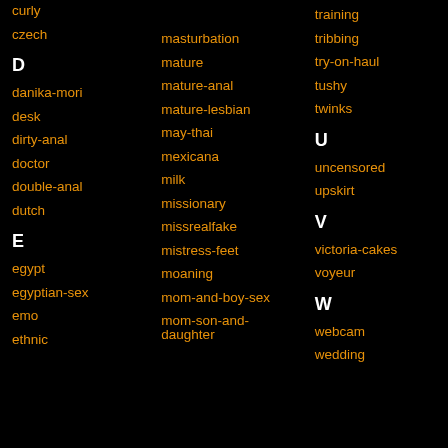curly
czech
D
danika-mori
desk
dirty-anal
doctor
double-anal
dutch
E
egypt
egyptian-sex
emo
ethnic
masturbation
mature
mature-anal
mature-lesbian
may-thai
mexicana
milk
missionary
missrealfake
mistress-feet
moaning
mom-and-boy-sex
mom-son-and-daughter
training
tribbing
try-on-haul
tushy
twinks
U
uncensored
upskirt
V
victoria-cakes
voyeur
W
webcam
wedding